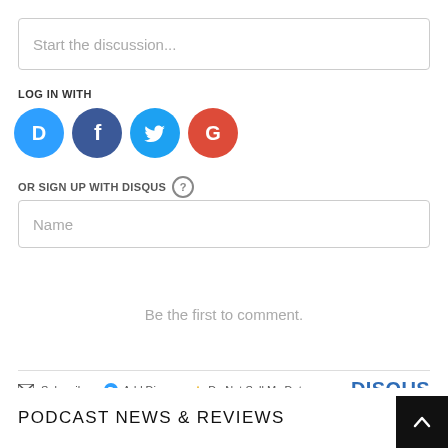Start the discussion...
LOG IN WITH
[Figure (other): Social login icons: Disqus (blue circle with D), Facebook (dark blue circle with f), Twitter (cyan circle with bird), Google (red circle with G)]
OR SIGN UP WITH DISQUS ?
Name
Be the first to comment.
Subscribe  Add Disqus  Do Not Sell My Data   DISQUS
PODCAST NEWS & REVIEWS